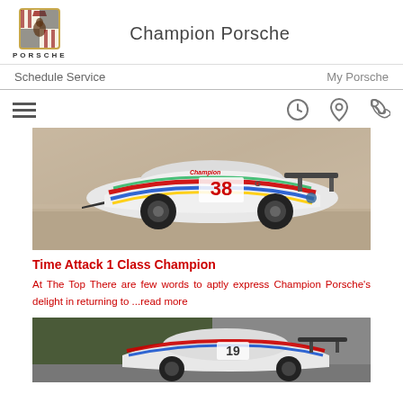[Figure (logo): Porsche crest logo and PORSCHE wordmark]
Champion Porsche
Schedule Service
My Porsche
[Figure (other): Hamburger menu icon, clock icon, location pin icon, phone icon]
[Figure (photo): Racing Porsche 911 GT2 RS number 38 with Champion livery (red, green, blue, yellow stripes) on a race track]
Time Attack 1 Class Champion
At The Top There are few words to aptly express Champion Porsche’s delight in returning to ...read more
[Figure (photo): Porsche race car (white with red/blue livery) parked with trees in background]